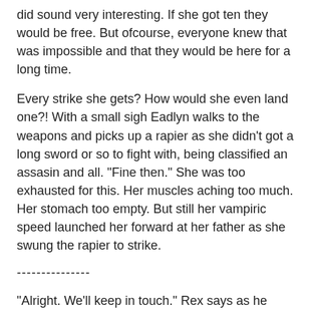did sound very interesting. If she got ten they would be free. But ofcourse, everyone knew that was impossible and that they would be here for a long time.
Every strike she gets? How would she even land one?! With a small sigh Eadlyn walks to the weapons and picks up a rapier as she didn't got a long sword or so to fight with, being classified an assasin and all. "Fine then." She was too exhausted for this. Her muscles aching too much. Her stomach too empty. But still her vampiric speed launched her forward at her father as she swung the rapier to strike.
---------------
"Alright. We'll keep in touch." Rex says as he watches Kimi walk off. She truly was a Romanov. He began to plan things out, making a list of who he should contact and what he would write in the letter. The meeting would be in Italy if the King and Queen agreed since it would not be smart to draw the attention on Even if the